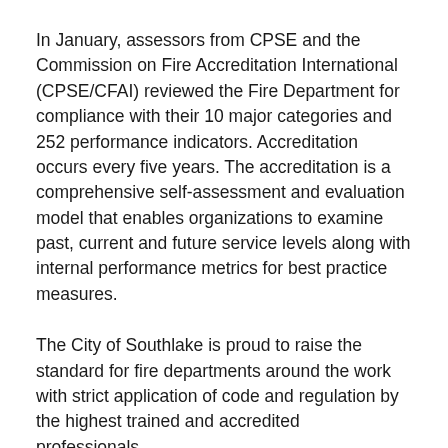In January, assessors from CPSE and the Commission on Fire Accreditation International (CPSE/CFAI) reviewed the Fire Department for compliance with their 10 major categories and 252 performance indicators. Accreditation occurs every five years. The accreditation is a comprehensive self-assessment and evaluation model that enables organizations to examine past, current and future service levels along with internal performance metrics for best practice measures.
The City of Southlake is proud to raise the standard for fire departments around the work with strict application of code and regulation by the highest trained and accredited professionals.
(The photo above was taken prior to social distancing guidelines.)